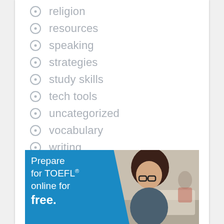religion
resources
speaking
strategies
study skills
tech tools
uncategorized
vocabulary
writing
[Figure (illustration): Advertisement banner with blue background on left showing text 'Prepare for TOEFL® online for free.' and a photo of a young woman with glasses studying on the right side.]